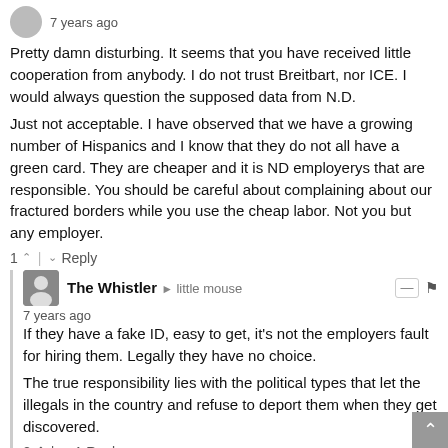7 years ago
Pretty damn disturbing. It seems that you have received little cooperation from anybody. I do not trust Breitbart, nor ICE. I would always question the supposed data from N.D.
Just not acceptable. I have observed that we have a growing number of Hispanics and I know that they do not all have a green card. They are cheaper and it is ND employerys that are responsible. You should be careful about complaining about our fractured borders while you use the cheap labor. Not you but any employer.
1  |   Reply
The Whistler → little mouse
7 years ago
If they have a fake ID, easy to get, it's not the employers fault for hiring them. Legally they have no choice.
The true responsibility lies with the political types that let the illegals in the country and refuse to deport them when they get discovered.
2  |  1   Reply